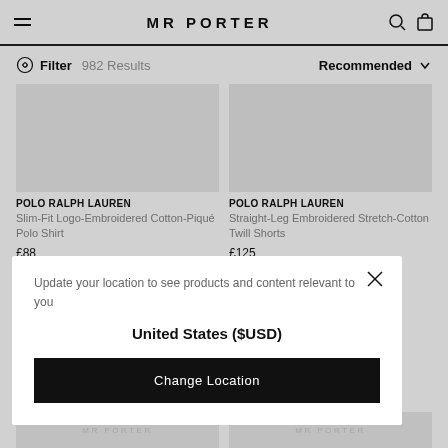MR PORTER
Filter  982 Results   Recommended
[Figure (photo): Product image placeholder for Polo Ralph Lauren Slim-Fit Logo-Embroidered Cotton-Piqué Polo Shirt]
POLO RALPH LAUREN
Slim-Fit Logo-Embroidered Cotton-Piqué Polo Shirt
£88
[Figure (photo): Product image placeholder for Polo Ralph Lauren Straight-Leg Embroidered Stretch-Cotton Twill Shorts]
POLO RALPH LAUREN
Straight-Leg Embroidered Stretch-Cotton Twill Shorts
£125
Update your location to see products and content relevant to you
United States ($USD)
Change Location